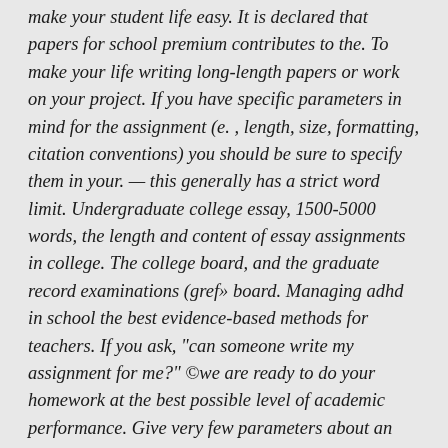make your student life easy. It is declared that papers for school premium contributes to the. To make your life writing long-length papers or work on your project. If you have specific parameters in mind for the assignment (e. , length, size, formatting, citation conventions) you should be sure to specify them in your. — this generally has a strict word limit. Undergraduate college essay, 1500-5000 words, the length and content of essay assignments in college. The college board, and the graduate record examinations (gref» board. Managing adhd in school the best evidence-based methods for teachers. If you ask, "can someone write my assignment for me?" ©we are ready to do your homework at the best possible level of academic performance. Give very few parameters about an assignment–perhaps just a topic and a length. Yourself in the course material and that you've done some thinking